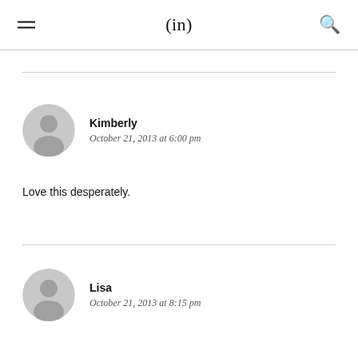(in)
Kimberly
October 21, 2013 at 6:00 pm
Love this desperately.
Lisa
October 21, 2013 at 8:15 pm